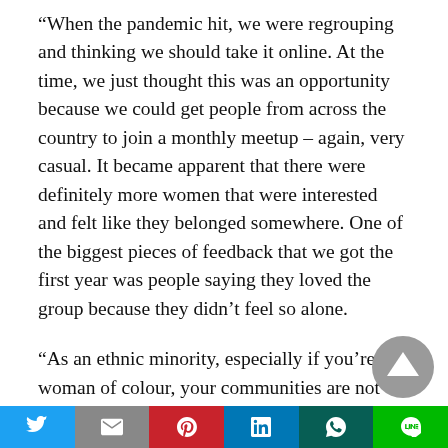“When the pandemic hit, we were regrouping and thinking we should take it online. At the time, we just thought this was an opportunity because we could get people from across the country to join a monthly meetup – again, very casual. It became apparent that there were definitely more women that were interested and felt like they belonged somewhere. One of the biggest pieces of feedback that we got the first year was people saying they loved the group because they didn’t feel so alone.
“As an ethnic minority, especially if you’re a woman of colour, your communities are not encouraging
[Figure (other): Scroll-to-top circular button with upward arrow, grey background]
[Figure (other): Social media share bar with Twitter, Gmail, Pinterest, LinkedIn, WhatsApp, and LINE buttons]